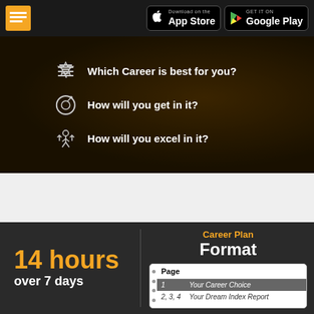App Store / Google Play store buttons header bar
[Figure (infographic): Dark hero banner with three career questions: Which Career is best for you?, How will you get in it?, How will you excel in it? Each with an icon.]
Which Career is best for you?
How will you get in it?
How will you excel in it?
14 hours over 7 days
Career Plan Format
| Page |  |
| --- | --- |
| 1 | Your Career Choice |
| 2, 3, 4 | Your Dream Index Report |